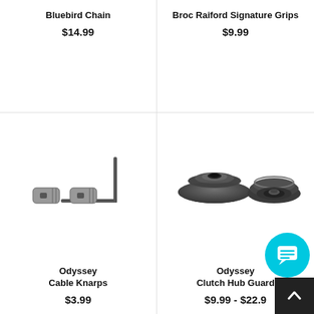Bluebird Chain
$14.99
Broc Raiford Signature Grips
$9.99
[Figure (photo): Odyssey Cable Knarps product photo: two small metal cable end fittings and an L-shaped hex wrench on white background]
Odyssey Cable Knarps
$3.99
[Figure (photo): Odyssey Clutch Hub Guard product photo: two black anodized aluminum cone-shaped hub guards on white background]
Odyssey Clutch Hub Guard
$9.99 - $22.99